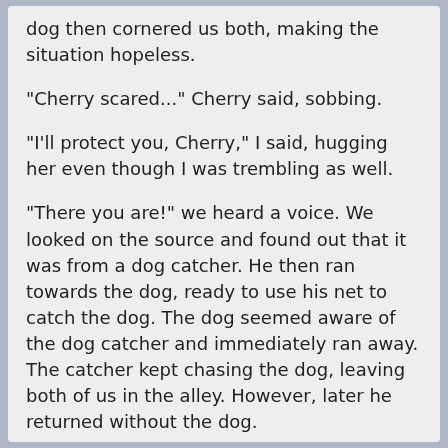dog then cornered us both, making the situation hopeless.
"Cherry scared..." Cherry said, sobbing.
"I'll protect you, Cherry," I said, hugging her even though I was trembling as well.
"There you are!" we heard a voice. We looked on the source and found out that it was from a dog catcher. He then ran towards the dog, ready to use his net to catch the dog. The dog seemed aware of the dog catcher and immediately ran away. The catcher kept chasing the dog, leaving both of us in the alley. However, later he returned without the dog.
"Heh, that dog sure can run," he said with upset face. "Are you two okay?"